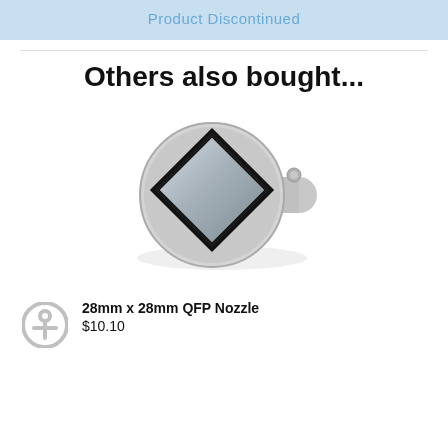Product Discontinued
Others also bought...
[Figure (photo): A silver metallic 28mm x 28mm QFP Nozzle with a square opening on the front face and a cylindrical barrel attachment on the right side.]
28mm x 28mm QFP Nozzle
$10.10